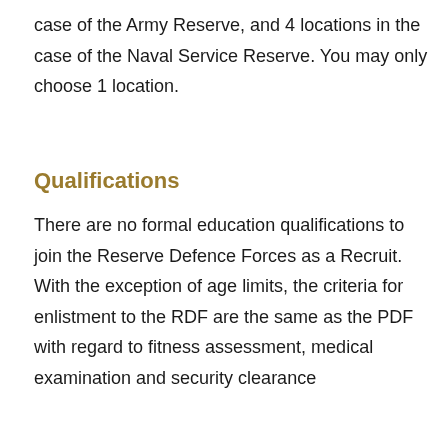case of the Army Reserve, and 4 locations in the case of the Naval Service Reserve. You may only choose 1 location.
Qualifications
There are no formal education qualifications to join the Reserve Defence Forces as a Recruit. With the exception of age limits, the criteria for enlistment to the RDF are the same as the PDF with regard to fitness assessment, medical examination and security clearance